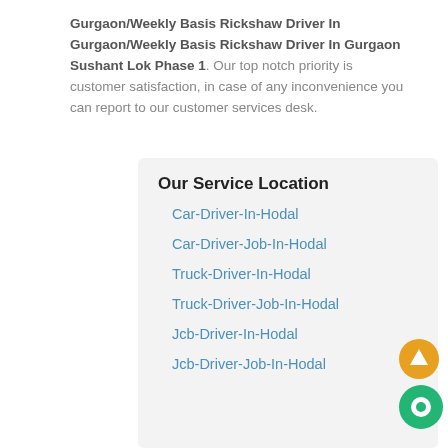Gurgaon/Weekly Basis Rickshaw Driver In Gurgaon/Weekly Basis Rickshaw Driver In Gurgaon Sushant Lok Phase 1. Our top notch priority is customer satisfaction, in case of any inconvenience you can report to our customer services desk.
Our Service Location
Car-Driver-In-Hodal
Car-Driver-Job-In-Hodal
Truck-Driver-In-Hodal
Truck-Driver-Job-In-Hodal
Jcb-Driver-In-Hodal
Jcb-Driver-Job-In-Hodal